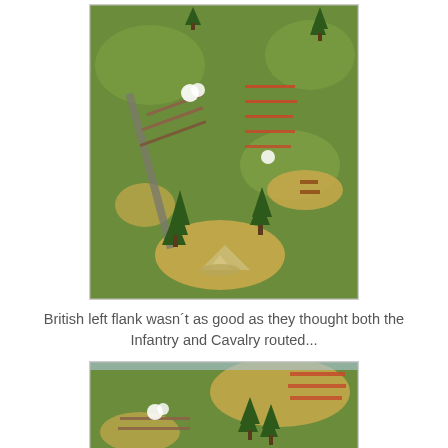[Figure (photo): Aerial view of a miniature wargame battlefield with painted figures (infantry and cavalry) arranged on a green felt mat with terrain features including pine trees, a tent/hut model, sandy hill features, and a road. Shows British and opposing forces in battle formation.]
British left flank wasn´t as good as they thought both the Infantry and Cavalry routed...
[Figure (photo): Partial view of a miniature wargame battlefield showing another angle of the battle, with painted figures on a green mat, sandy terrain features, and pine trees visible.]